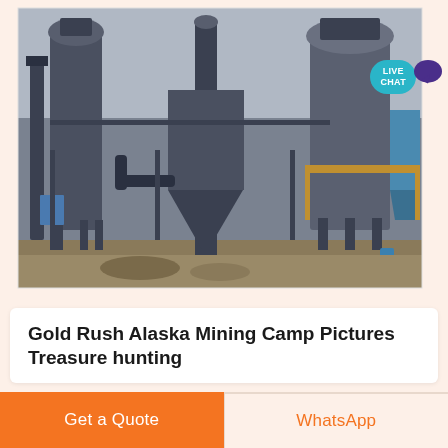[Figure (photo): Industrial mining facility with large metal silos, cyclone dust collectors, pipes, and structural steel framework on a flat terrain. Grey overcast sky. A LIVE CHAT badge overlays the top right corner.]
Gold Rush Alaska Mining Camp Pictures Treasure hunting
Get a Quote
WhatsApp